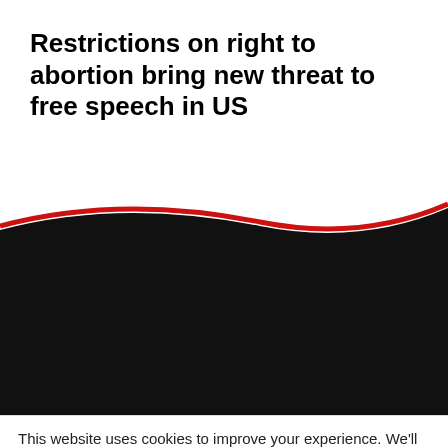Restrictions on right to abortion bring new threat to free speech in US
[Figure (illustration): Decorative wave graphic transitioning from white to black with a red curved line accent, forming the top of the footer area]
Press and Media | Privacy Notice | Governance | About this site
This website uses cookies to improve your experience. We'll assume you're ok with this, but you can opt-out if you wish.
Cookie settings  ACCEPT  Privacy and Cookie Policy